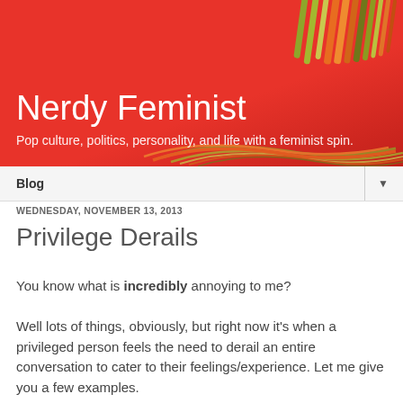[Figure (illustration): Red banner header with decorative swirling colored lines (green, orange, dark olive) in the top-right corner and bottom area of the banner, serving as the blog header background.]
Nerdy Feminist
Pop culture, politics, personality, and life with a feminist spin.
Blog ▼
WEDNESDAY, NOVEMBER 13, 2013
Privilege Derails
You know what is incredibly annoying to me?
Well lots of things, obviously, but right now it's when a privileged person feels the need to derail an entire conversation to cater to their feelings/experience. Let me give you a few examples.